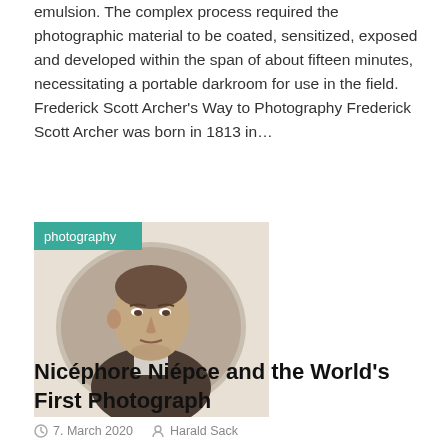emulsion. The complex process required the photographic material to be coated, sensitized, exposed and developed within the span of about fifteen minutes, necessitating a portable darkroom for use in the field. Frederick Scott Archer's Way to Photography Frederick Scott Archer was born in 1813 in...
Read more
[Figure (photo): Portrait photograph of Nicéphore Niépce, a man in early 19th century clothing, with a teal 'photography' label overlay in the top-left corner]
Nicéphore Niépce and the World's First Photograph
7. March 2020  Harald Sack